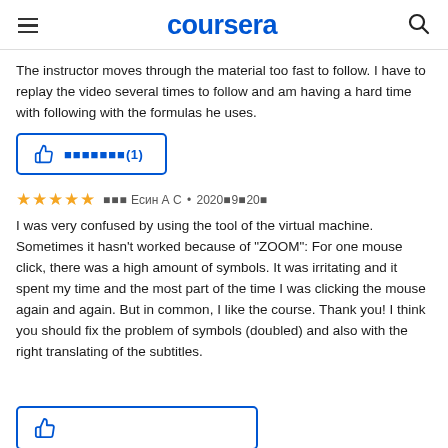coursera
The instructor moves through the material too fast to follow. I have to replay the video several times to follow and am having a hard time with following with the formulas he uses.
[Figure (other): Thumbs up helpful button with text showing helpful count (1)]
★★★★★ 由他 Есин А С • 2020年9月20日
I was very confused by using the tool of the virtual machine. Sometimes it hasn't worked because of "ZOOM": For one mouse click, there was a high amount of symbols. It was irritating and it spent my time and the most part of the time I was clicking the mouse again and again. But in common, I like the course. Thank you! I think you should fix the problem of symbols (doubled) and also with the right translating of the subtitles.
[Figure (other): Thumbs up helpful button (partially visible at bottom)]